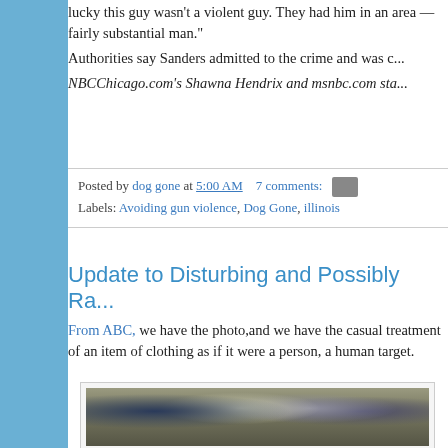lucky this guy wasn't a violent guy. They had him in an area — fairly substantial man."
Authorities say Sanders admitted to the crime and was c...
NBCChicago.com's Shawna Hendrix and msnbc.com sta...
Posted by dog gone at 5:00 AM   7 comments:
Labels: Avoiding gun violence, Dog Gone, illinois
Update to Disturbing and Possibly Ra...
From ABC, we have the photo,and we have the casual treatment of an item of clothing as if it were a person, a human target.
[Figure (photo): Group of young men standing outdoors holding guns; one holds up a dark t-shirt with a graphic print. Faces are blurred.]